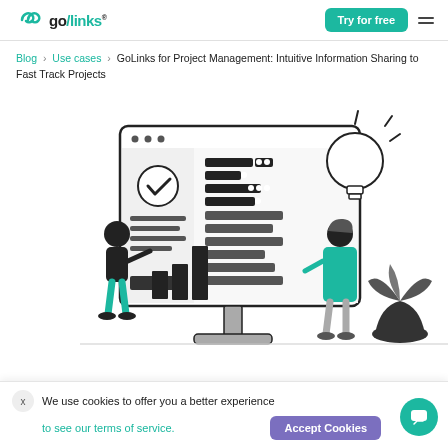go/links — Try for free
Blog > Use cases > GoLinks for Project Management: Intuitive Information Sharing to Fast Track Projects
[Figure (illustration): Illustration of two people (one man pointing at a screen on the left, one woman on the right) in front of a large monitor showing a project management dashboard with Gantt chart bars, a bar chart, and a checklist. A light bulb and a plant are visible beside the monitor.]
We use cookies to offer you a better experience. to see our terms of service.  Accept Cookies